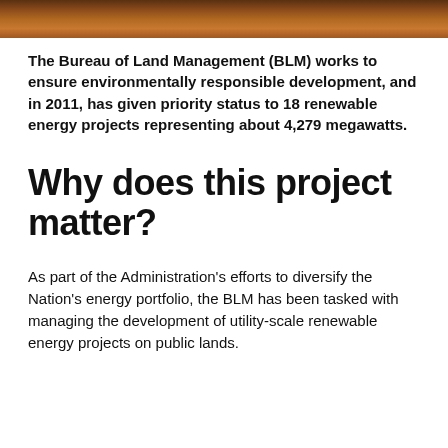[Figure (photo): Landscape photo strip showing reddish-brown terrain or vegetation at the top of the page]
The Bureau of Land Management (BLM) works to ensure environmentally responsible development, and in 2011, has given priority status to 18 renewable energy projects representing about 4,279 megawatts.
Why does this project matter?
As part of the Administration's efforts to diversify the Nation's energy portfolio, the BLM has been tasked with managing the development of utility-scale renewable energy projects on public lands.